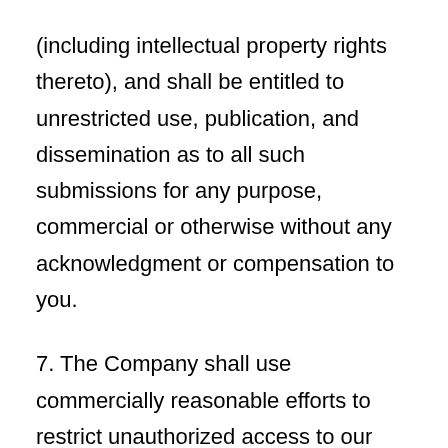(including intellectual property rights thereto), and shall be entitled to unrestricted use, publication, and dissemination as to all such submissions for any purpose, commercial or otherwise without any acknowledgment or compensation to you.
7. The Company shall use commercially reasonable efforts to restrict unauthorized access to our data and files. However no system whether or not password protected can be entirely impenetrable. You acknowledge that it may be possible for an unauthorized third party to access, view, copy, modify, or